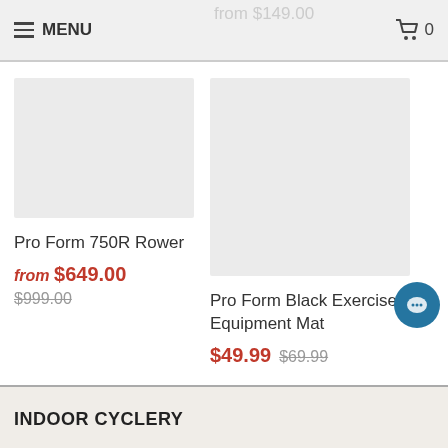MENU | Cart 0
from $149.00
[Figure (photo): Product image placeholder for Pro Form 750R Rower]
Pro Form 750R Rower
from $649.00 $999.00
[Figure (photo): Product image placeholder for Pro Form Black Exercise Equipment Mat]
Pro Form Black Exercise Equipment Mat
$49.99 $69.99
INDOOR CYCLERY